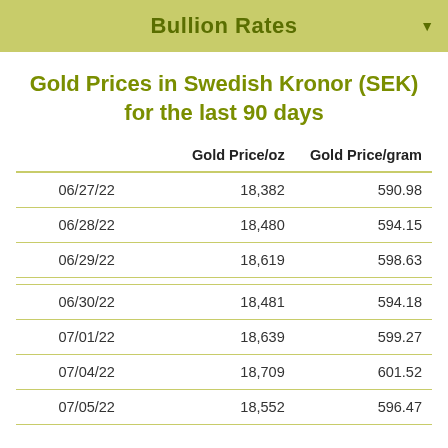Bullion Rates
Gold Prices in Swedish Kronor (SEK) for the last 90 days
|  | Gold Price/oz | Gold Price/gram |
| --- | --- | --- |
| 06/27/22 | 18,382 | 590.98 |
| 06/28/22 | 18,480 | 594.15 |
| 06/29/22 | 18,619 | 598.63 |
| 06/30/22 | 18,481 | 594.18 |
| 07/01/22 | 18,639 | 599.27 |
| 07/04/22 | 18,709 | 601.52 |
| 07/05/22 | 18,552 | 596.47 |